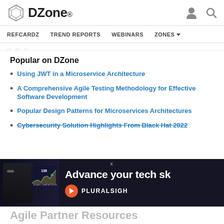DZone. REFCARDZ TREND REPORTS WEBINARS ZONES
(breadcrumb navigation)
Popular on DZone
Using JWT in a Microservice Architecture
A Comprehensive Agile Testing Methodology for Effective Software Development
Popular Design Patterns for Microservices Architectures
Cybersecurity Solution Highlights From Black Hat 2022
[Figure (screenshot): Pluralsight advertisement overlay with dark background showing a person and the text 'Advance your tech sk' with Pluralsight logo]
Agile Partner Resources